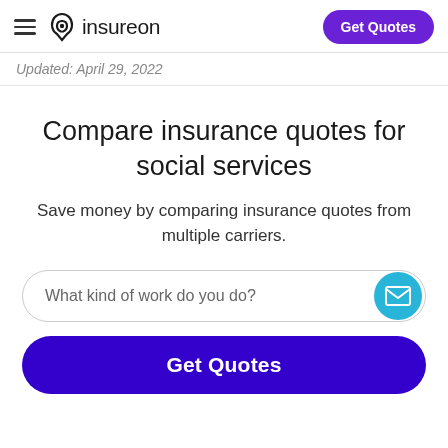insureon — Get Quotes
Updated: April 29, 2022
Compare insurance quotes for social services
Save money by comparing insurance quotes from multiple carriers.
What kind of work do you do?
Get Quotes